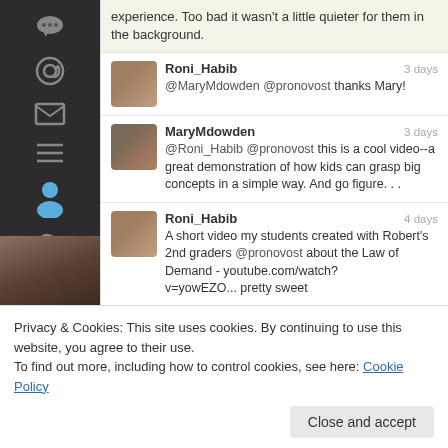[Figure (screenshot): Twitter/social media app screenshot showing a left sidebar with icons and a feed of tweets]
experience. Too bad it wasn't a little quieter for them in the background.
Roni_Habib 3 days @MaryMdowden @pronovost thanks Mary!
MaryMdowden 3 days @Roni_Habib @pronovost this is a cool video--a great demonstration of how kids can grasp big concepts in a simple way.  And go figure. . .
Roni_Habib 4 days A short video my students created with Robert's 2nd graders @pronovost about the Law of Demand - youtube.com/watch? v=yowEZO... pretty sweet
Privacy & Cookies: This site uses cookies. By continuing to use this website, you agree to their use.
To find out more, including how to control cookies, see here: Cookie Policy